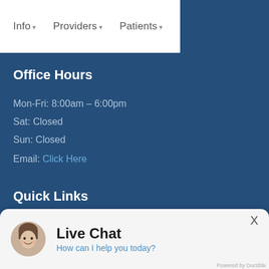Info  Providers  Patients
Office Hours
Mon-Fri: 8:00am – 6:00pm
Sat: Closed
Sun: Closed
Email: Click Here
Quick Links
[Figure (screenshot): Live Chat popup widget with avatar photo of a woman, heading 'Live Chat', subtitle 'How can I help you today?' and a close X button. Footer text 'Powered by Doctible'.]